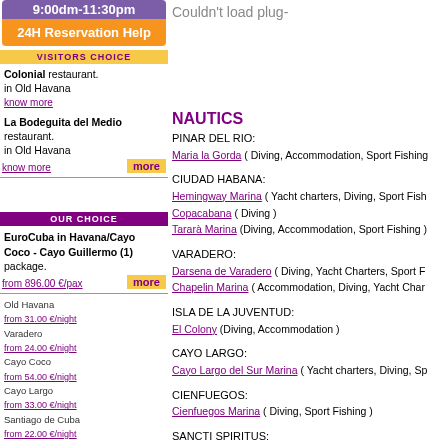[Figure (other): Purple banner showing 9:00dm-11:30pm and orange 24H Reservation Help button]
VISITORS CHOICE
Colonial restaurant. in Old Havana
know more
La Bodeguita del Medio restaurant. in Old Havana
know more   more
OUR CHOICE
EuroCuba in Havana/Cayo Coco - Cayo Guillermo (1) package.
from 896.00 €/pax   more
Old Havana
from 31.00 €/night
Varadero
from 24.00 €/night
Cayo Coco
from 54.00 €/night
Cayo Largo
from 33.00 €/night
Santiago de Cuba
from 22.00 €/night
Couldn't load plug-
NAUTICS
PINAR DEL RIO:
Maria la Gorda ( Diving, Accommodation, Sport Fishing )
CIUDAD HABANA:
Hemingway Marina ( Yacht charters, Diving, Sport Fish...
Copacabana ( Diving )
Tarará Marina (Diving, Accommodation, Sport Fishing )
VARADERO:
Darsena de Varadero ( Diving, Yacht Charters, Sport F...
Chapelin Marina ( Accommodation, Diving, Yacht Char...
ISLA DE LA JUVENTUD:
El Colony (Diving, Accommodation )
CAYO LARGO:
Cayo Largo del Sur Marina ( Yacht charters, Diving, Sp...
CIENFUEGOS:
Cienfuegos Marina ( Diving, Sport Fishing )
SANCTI SPIRITUS:
Trinidad Marina (Diving, Sport Fishing )